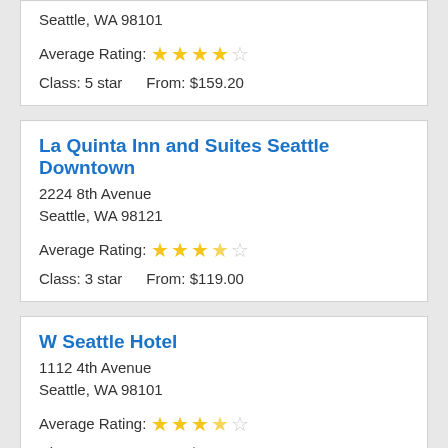Seattle, WA 98101
Average Rating: 4 stars
Class: 5 star   From: $159.20
La Quinta Inn and Suites Seattle Downtown
2224 8th Avenue
Seattle, WA 98121
Average Rating: 3.5 stars
Class: 3 star   From: $119.00
W Seattle Hotel
1112 4th Avenue
Seattle, WA 98101
Average Rating: 3.5 stars
Class: 4 star   From: $224.10